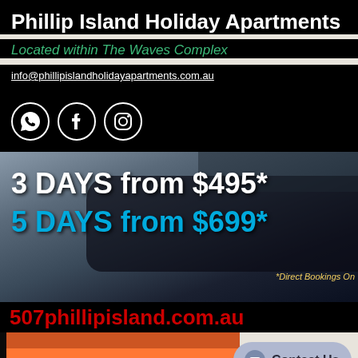Phillip Island Holiday Apartments
Located within The Waves Complex
info@phillipislandholidayapartments.com.au
[Figure (logo): WhatsApp, Facebook, and Instagram social media icons in white circles on black background]
[Figure (infographic): Promotional banner showing '3 DAYS from $495*' in white and '5 DAYS from $699*' in blue, with note '*Direct Bookings Only' in yellow, over a dark car/property background image]
507phillipisland.com.au
[Figure (photo): Photo of penguins at dusk/sunset background]
Contact Us